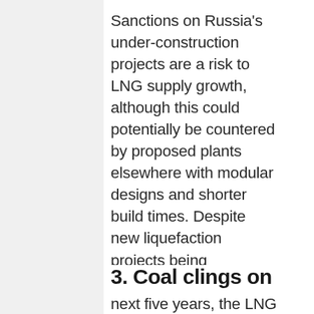Sanctions on Russia's under-construction projects are a risk to LNG supply growth, although this could potentially be countered by proposed plants elsewhere with modular designs and shorter build times. Despite new liquefaction projects being commissioned over the next five years, the LNG market is still expected to be tight until 2026.
3. Coal clings on